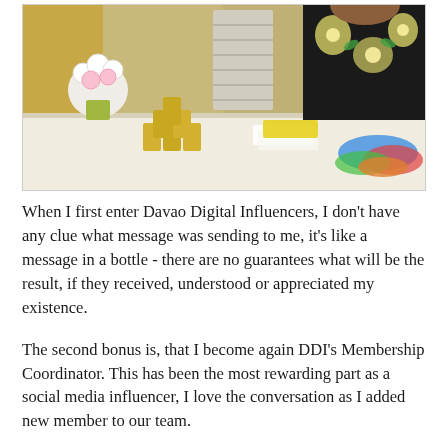[Figure (photo): A woman wearing a black floral dress standing behind a registration/welcome table. On the table there are cans of beverages arranged in rows, flowers in a vase on the left, papers, and colorful leis on the right side. The setting appears to be an indoor event.]
When I first enter Davao Digital Influencers, I don't have any clue what message was sending to me, it's like a message in a bottle - there are no guarantees what will be the result, if they received, understood or appreciated my existence.
The second bonus is, that I become again DDI's Membership Coordinator. This has been the most rewarding part as a social media influencer, I love the conversation as I added new member to our team.